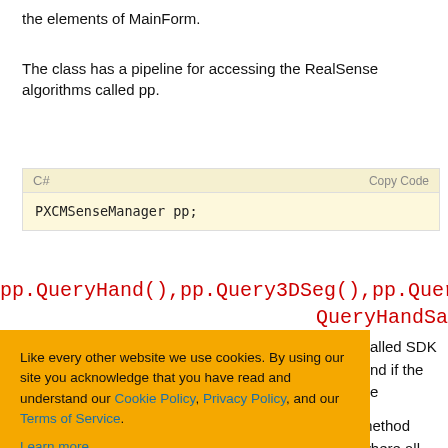the elements of MainForm.
The class has a pipeline for accessing the RealSense algorithms called pp.
[Figure (screenshot): Code block with C# label and 'Copy Code' button, containing: PXCMSenseManager pp;]
pp.QueryHand(),pp.Query3DSeg(),pp.QueryS
QueryHandSa
alled SDK nd if the e
method where all
[Figure (other): Cookie consent banner with orange background. Text: 'Like every other website we use cookies. By using our site you acknowledge that you have read and understand our Cookie Policy, Privacy Policy, and our Terms of Service. Learn more'. Buttons: 'Ask me later', 'Decline', 'Allow cookies'.]